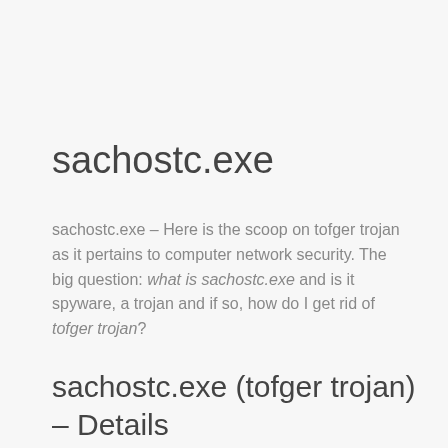sachostc.exe
sachostc.exe – Here is the scoop on tofger trojan as it pertains to computer network security. The big question: what is sachostc.exe and is it spyware, a trojan and if so, how do I get rid of tofger trojan?
sachostc.exe (tofger trojan) – Details